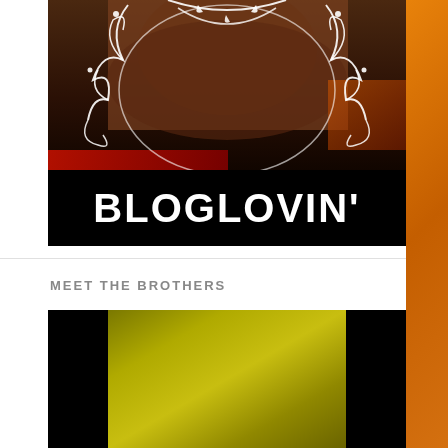[Figure (photo): Book cover style image showing two people embracing with decorative white vine/floral overlays on dark romantic background, with 'BLOGLOVIN'' text in large white bold letters on black bar at bottom]
MEET THE BROTHERS
[Figure (photo): Image with black sides and an olive/yellow-green gradient center panel, partially visible book cover or promotional image]